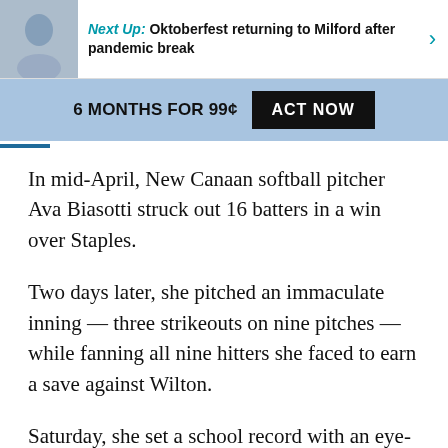Next Up: Oktoberfest returning to Milford after pandemic break
6 MONTHS FOR 99¢  ACT NOW
In mid-April, New Canaan softball pitcher Ava Biasotti struck out 16 batters in a win over Staples.
Two days later, she pitched an immaculate inning — three strikeouts on nine pitches — while fanning all nine hitters she faced to earn a save against Wilton.
Saturday, she set a school record with an eye-